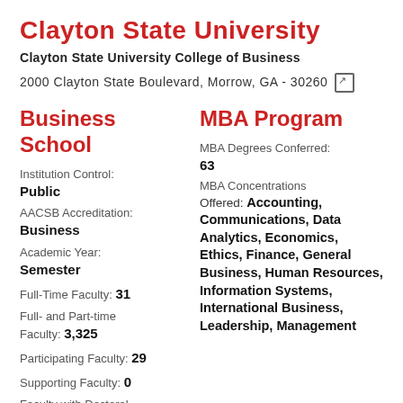Clayton State University
Clayton State University College of Business
2000 Clayton State Boulevard, Morrow, GA - 30260
Business School
MBA Program
Institution Control: Public
MBA Degrees Conferred: 63
AACSB Accreditation: Business
MBA Concentrations Offered: Accounting, Communications, Data Analytics, Economics, Ethics, Finance, General Business, Human Resources, Information Systems, International Business, Leadership, Management
Academic Year: Semester
Full-Time Faculty: 31
Full- and Part-time Faculty: 3,325
Participating Faculty: 29
Supporting Faculty: 0
Faculty with Doctoral Degree: 83%